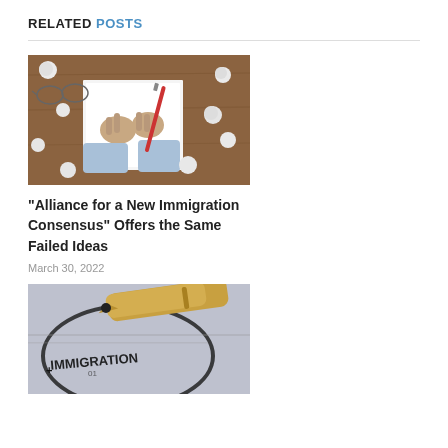RELATED POSTS
[Figure (photo): Person crumpling paper on a wooden desk surrounded by crumpled paper balls, with glasses and a red pen visible]
“Alliance for a New Immigration Consensus” Offers the Same Failed Ideas
March 30, 2022
[Figure (photo): Close-up of a fountain pen on an immigration stamp document reading IMMIGRATION]